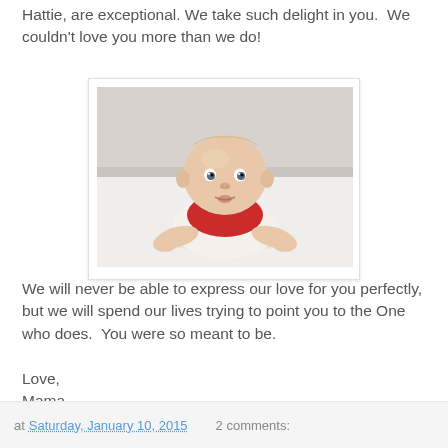Hattie, are exceptional. We take such delight in you.  We couldn't love you more than we do!
[Figure (photo): A baby in a red bib doing tummy time on a white surface, looking up at the camera.]
We will never be able to express our love for you perfectly, but we will spend our lives trying to point you to the One who does.  You were so meant to be.

Love,
Mama
at Saturday, January 10, 2015   2 comments: